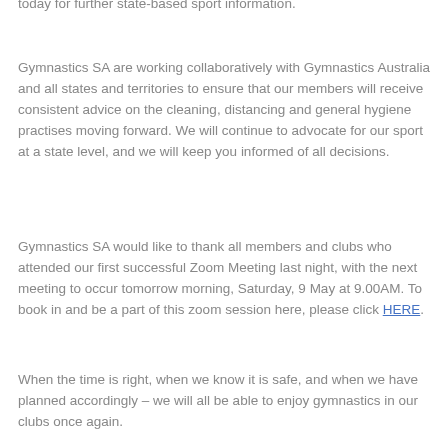today for further state-based sport information.
Gymnastics SA are working collaboratively with Gymnastics Australia and all states and territories to ensure that our members will receive consistent advice on the cleaning, distancing and general hygiene practises moving forward. We will continue to advocate for our sport at a state level, and we will keep you informed of all decisions.
Gymnastics SA would like to thank all members and clubs who attended our first successful Zoom Meeting last night, with the next meeting to occur tomorrow morning, Saturday, 9 May at 9.00AM. To book in and be a part of this zoom session here, please click HERE.
When the time is right, when we know it is safe, and when we have planned accordingly – we will all be able to enjoy gymnastics in our clubs once again.